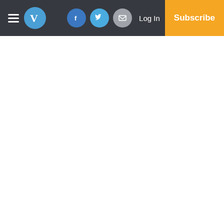V | Log In | Subscribe
According to Wilson, the woman told her she had reported her to the game warden.
“And I’m like, ma’am?” she said. “They know Waffles is here. I’m in contact with them because when